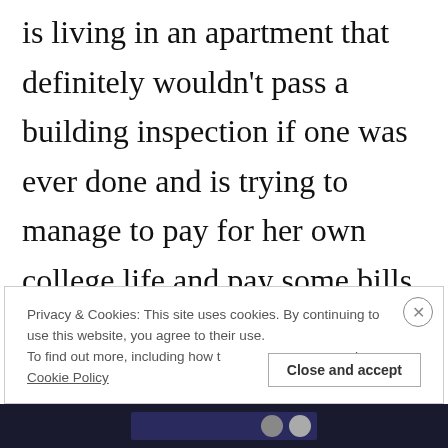is living in an apartment that definitely wouldn't pass a building inspection if one was ever done and is trying to manage to pay for her own college life and pay some bills for her parents. All while maintaining a great GPA. It's a lot. And Blake is the heir apparent to
Privacy & Cookies: This site uses cookies. By continuing to use this website, you agree to their use. To find out more, including how to control cookies, see here: Cookie Policy